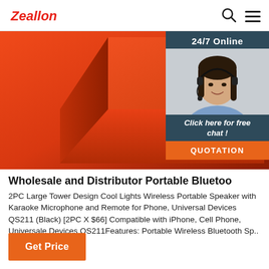Zeallon
[Figure (photo): Red portable Bluetooth speaker product photo on orange-red background]
[Figure (photo): 24/7 Online chat overlay with woman wearing headset and 'Click here for free chat!' call to action and QUOTATION button]
Wholesale and Distributor Portable Bluetoo
2PC Large Tower Design Cool Lights Wireless Portable Speaker with Karaoke Microphone and Remote for Phone, Universal Devices QS211 (Black) [2PC X $66] Compatible with iPhone, Cell Phone, Universale Devices QS211Features: Portable Wireless Bluetooth Sp.. Login to See Price.
Get Price